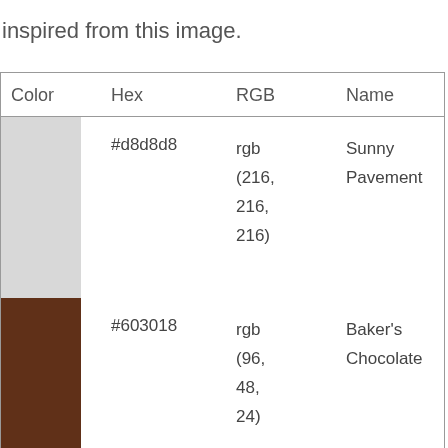inspired from this image.
| Color | Hex | RGB | Name |
| --- | --- | --- | --- |
| [gray swatch] | #d8d8d8 | rgb (216, 216, 216) | Sunny Pavement |
| [brown swatch] | #603018 | rgb (96, 48, 24) | Baker's Chocolate |
| [silver swatch] | #c0c0c0 | rgb | Silver |